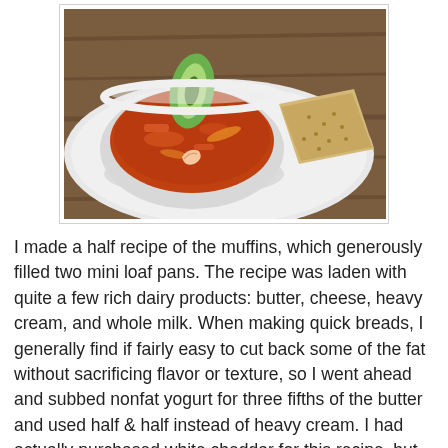[Figure (photo): A bowl of tomato-based seafood soup with shrimp and vegetables, garnished with a slice of avocado, served on a white plate with a piece of seeded flatbread/cracker on the side. Background is a wooden surface.]
I made a half recipe of the muffins, which generously filled two mini loaf pans. The recipe was laden with quite a few rich dairy products: butter, cheese, heavy cream, and whole milk. When making quick breads, I generally find if fairly easy to cut back some of the fat without sacrificing flavor or texture, so I went ahead and subbed nonfat yogurt for three fifths of the butter and used half & half instead of heavy cream. I had actually purchased white cheddar for this recipe, but when I looked into the refrigerator I saw some gruyere that probably didn't have too many good days left, so subbed that for the cheddar. I thought the gruyere was